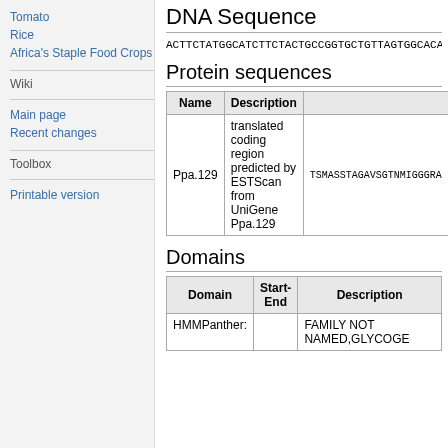Tomato
Rice
Africa's Staple Food Crops
Wiki
Main page
Recent changes
Toolbox
Printable version
DNA Sequence
ACTTCTATGGCATCTTCTACTGCCGGTGCTGTTAGTGGCACAAA
Protein sequences
| Name | Description |  |
| --- | --- | --- |
| Ppa.129 | translated coding region predicted by ESTScan from UniGene Ppa.129 | TSMASSTAGAVSGTNMIGGGRA |
Domains
| Domain | Start-End | Description |
| --- | --- | --- |
| HMMPanther: |  | FAMILY NOT NAMED,GLYCOGE |